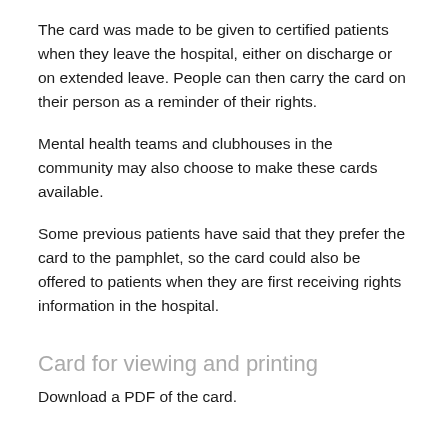The card was made to be given to certified patients when they leave the hospital, either on discharge or on extended leave. People can then carry the card on their person as a reminder of their rights.
Mental health teams and clubhouses in the community may also choose to make these cards available.
Some previous patients have said that they prefer the card to the pamphlet, so the card could also be offered to patients when they are first receiving rights information in the hospital.
Card for viewing and printing
Download a PDF of the card.